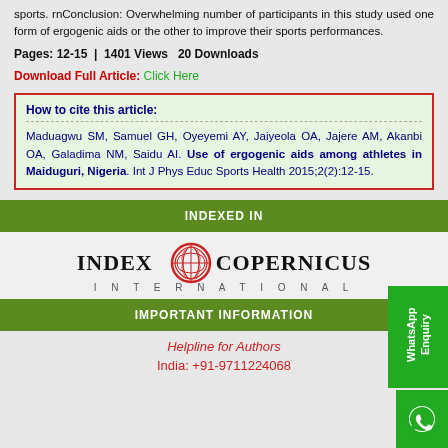sports. rnConclusion: Overwhelming number of participants in this study used one form of ergogenic aids or the other to improve their sports performances.
Pages: 12-15  |  1401 Views  20 Downloads
Download Full Article: Click Here
How to cite this article:
Maduagwu SM, Samuel GH, Oyeyemi AY, Jaiyeola OA, Jajere AM, Akanbi OA, Galadima NM, Saidu AI. Use of ergogenic aids among athletes in Maiduguri, Nigeria. Int J Phys Educ Sports Health 2015;2(2):12-15.
INDEXED IN
[Figure (logo): Index Copernicus International logo with red circular emblem]
IMPORTANT INFORMATION
Helpline for Authors
India: +91-9711224068